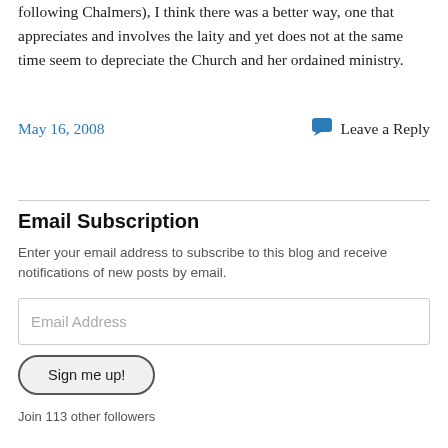following Chalmers), I think there was a better way, one that appreciates and involves the laity and yet does not at the same time seem to depreciate the Church and her ordained ministry.
May 16, 2008
Leave a Reply
Email Subscription
Enter your email address to subscribe to this blog and receive notifications of new posts by email.
Email Address
Sign me up!
Join 113 other followers